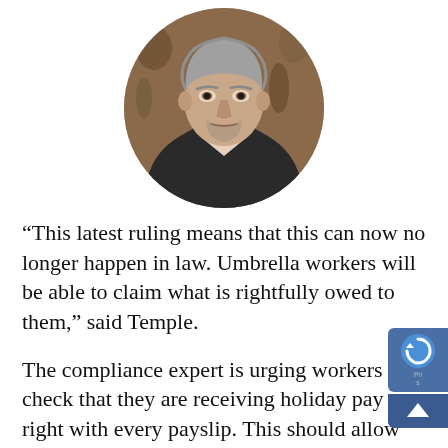[Figure (photo): Circular portrait photo of a middle-aged man with grey stubble, wearing a dark pinstripe blazer and light pink/white shirt, looking directly at camera in what appears to be a bar or restaurant setting.]
“This latest ruling means that this can now no longer happen in law. Umbrella workers will be able to claim what is rightfully owed to them,” said Temple.
The compliance expert is urging workers to check that they are receiving holiday pay r with every payslip. This should allow them to